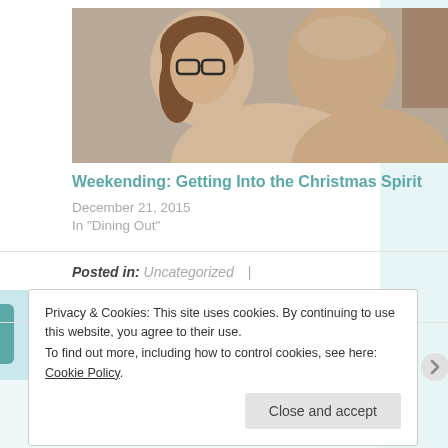[Figure (photo): Photo of a woman with glasses and a man posing together, thumbnail for a blog post]
Weekending: Getting Into the Christmas Spirit
December 21, 2015
In "Dining Out"
Posted in: Uncategorized  |
Tagged: #PasstheBag, fundraiser, Schoola
Privacy & Cookies: This site uses cookies. By continuing to use this website, you agree to their use.
To find out more, including how to control cookies, see here: Cookie Policy
Close and accept